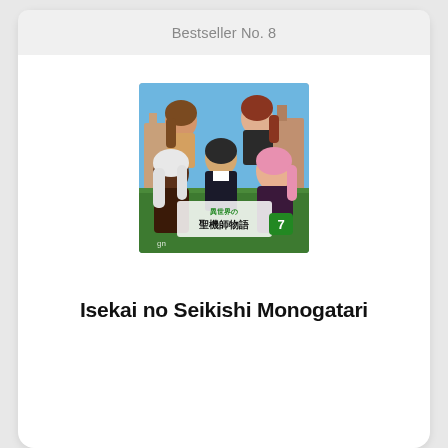Bestseller No. 8
[Figure (illustration): Manga/anime book cover for Isekai no Seikishi Monogatari volume 7, featuring several anime characters including a boy in a suit, a girl with white hair, a pink-haired girl, and others in the background, with Japanese text and the number 7 on the cover.]
Isekai no Seikishi Monogatari